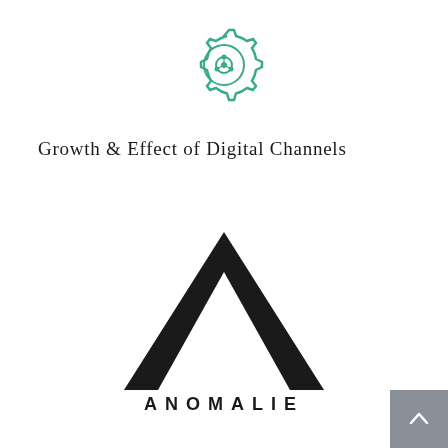[Figure (logo): Teal/green gear icon with a central hub and network nodes, circular mechanical design]
Growth & Effect of Digital Channels
[Figure (logo): Anomalie brand logo: large bold black letter A with a triangular cutout, below it the word ANOMALIE in spaced capitals]